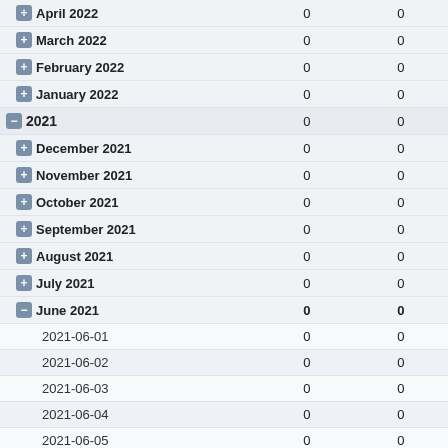| Period |  |  |
| --- | --- | --- |
| April 2022 | 0 | 0 |
| March 2022 | 0 | 0 |
| February 2022 | 0 | 0 |
| January 2022 | 0 | 0 |
| 2021 | 0 | 0 |
| December 2021 | 0 | 0 |
| November 2021 | 0 | 0 |
| October 2021 | 0 | 0 |
| September 2021 | 0 | 0 |
| August 2021 | 0 | 0 |
| July 2021 | 0 | 0 |
| June 2021 | 0 | 0 |
| 2021-06-01 | 0 | 0 |
| 2021-06-02 | 0 | 0 |
| 2021-06-03 | 0 | 0 |
| 2021-06-04 | 0 | 0 |
| 2021-06-05 | 0 | 0 |
| 2021-06-06 | 0 | 0 |
| 2021-06-07 | 0 | 0 |